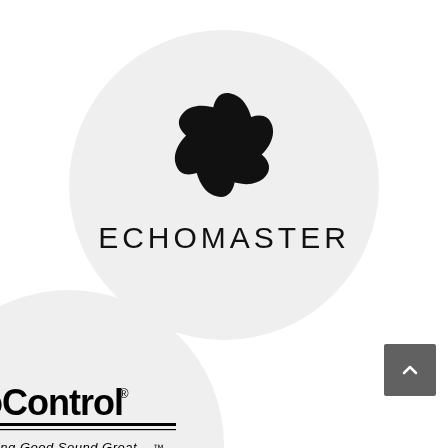[Figure (logo): Echomaster brand logo: a circular swirl/pinwheel icon above the word ECHOMASTER in spaced sans-serif capitals, inside a light gray circle background]
[Figure (logo): AudioControl brand logo: bold black text 'AudioControl' with registered trademark symbol, tagline 'Making Good Sound Great™' below, inside a light gray circle background]
[Figure (other): Dark gray back-to-top button with upward chevron arrow icon in the lower right area]